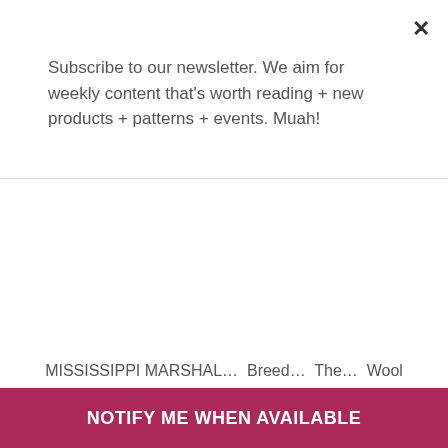×
Subscribe to our newsletter. We aim for weekly content that's worth reading + new products + patterns + events. Muah!
MISSISSIPPI MARSHAL... Breed... The... Wool
NOTIFY ME WHEN AVAILABLE